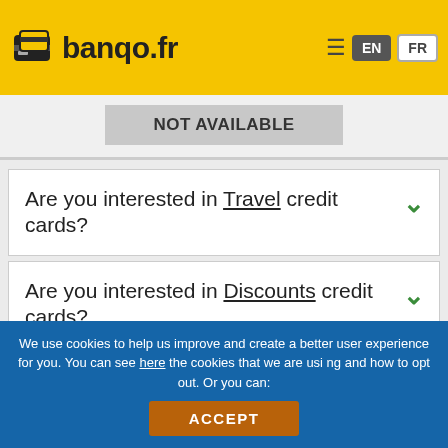banqo.fr
NOT AVAILABLE
Are you interested in Travel credit cards?
Are you interested in Discounts credit cards?
We use cookies to help us improve and create a better user experience for you. You can see here the cookies that we are using and how to opt out. Or you can:
ACCEPT